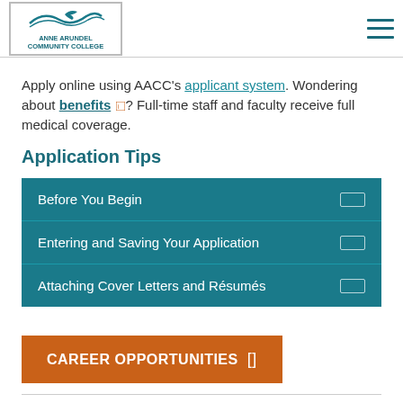Anne Arundel Community College
Apply online using AACC's applicant system. Wondering about benefits? Full-time staff and faculty receive full medical coverage.
Application Tips
Before You Begin
Entering and Saving Your Application
Attaching Cover Letters and Résumés
CAREER OPPORTUNITIES
Adjunct Faculty